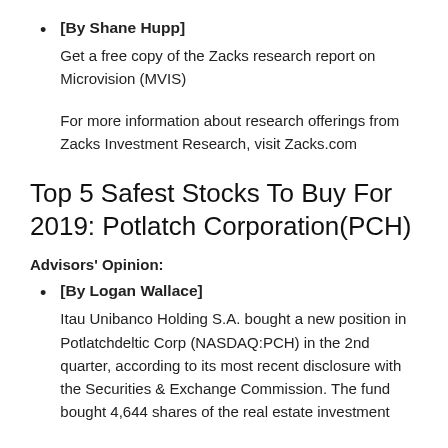[By Shane Hupp] Get a free copy of the Zacks research report on Microvision (MVIS)

For more information about research offerings from Zacks Investment Research, visit Zacks.com
Top 5 Safest Stocks To Buy For 2019: Potlatch Corporation(PCH)
Advisors' Opinion:
[By Logan Wallace] Itau Unibanco Holding S.A. bought a new position in Potlatchdeltic Corp (NASDAQ:PCH) in the 2nd quarter, according to its most recent disclosure with the Securities & Exchange Commission. The fund bought 4,644 shares of the real estate investment